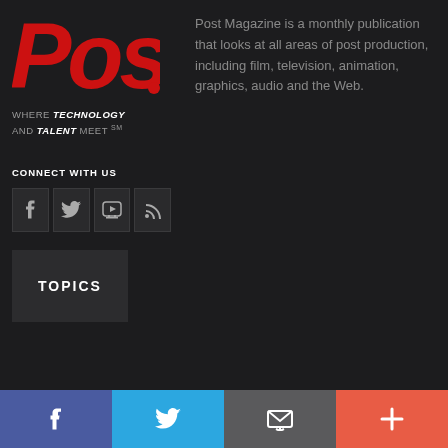[Figure (logo): Post Magazine logo in red bold italic text on dark background]
WHERE TECHNOLOGY AND TALENT MEET ℠
Post Magazine is a monthly publication that looks at all areas of post production, including film, television, animation, graphics, audio and the Web.
CONNECT WITH US
[Figure (infographic): Social media icons row: Facebook, Twitter, YouTube, RSS feed icons in dark boxes]
[Figure (infographic): TOPICS button box]
Facebook | Twitter | Email | More (+) — bottom share bar